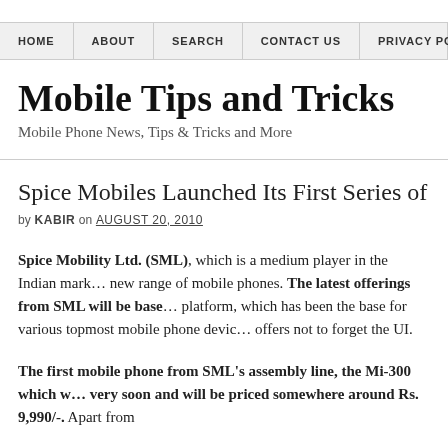HOME | ABOUT | SEARCH | CONTACT US | PRIVACY POLIC…
Mobile Tips and Tricks
Mobile Phone News, Tips & Tricks and More
Spice Mobiles Launched Its First Series of And…
by KABIR on AUGUST 20, 2010
Spice Mobility Ltd. (SML), which is a medium player in the Indian mark… new range of mobile phones. The latest offerings from SML will be base… platform, which has been the base for various topmost mobile phone devic… offers not to forget the UI.
The first mobile phone from SML's assembly line, the Mi-300 which w… very soon and will be priced somewhere around Rs. 9,990/-. Apart from…